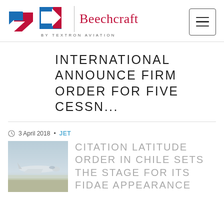[Figure (logo): Cessna and Beechcraft by Textron Aviation logos with hamburger menu button]
INTERNATIONAL ANNOUNCE FIRM ORDER FOR FIVE CESSN...
3 April 2018 • JET
[Figure (photo): Photo of a Citation Latitude jet aircraft on a runway in Chile]
CITATION LATITUDE ORDER IN CHILE SETS THE STAGE FOR ITS FIDAE APPEARANCE